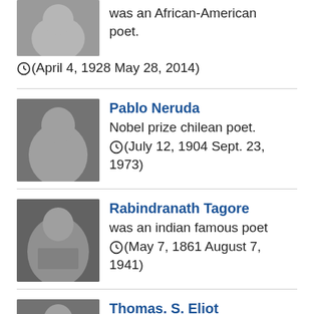[Figure (photo): Partial portrait photo of first poet (African-American poet, cropped at top of page)]
was an African-American poet.
(April 4, 1928 May 28, 2014)
[Figure (photo): Black and white portrait photo of Pablo Neruda]
Pablo Neruda
Nobel prize chilean poet.
(July 12, 1904 Sept. 23, 1973)
[Figure (photo): Black and white portrait photo of Rabindranath Tagore with beard]
Rabindranath Tagore
was an indian famous poet
(May 7, 1861 August 7, 1941)
[Figure (photo): Black and white portrait photo of Thomas S. Eliot with glasses]
Thomas. S. Eliot
was an English poet and critic.